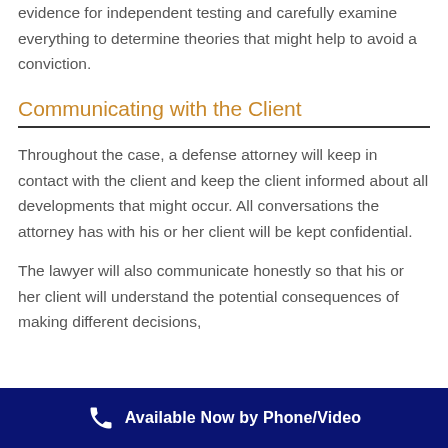evidence for independent testing and carefully examine everything to determine theories that might help to avoid a conviction.
Communicating with the Client
Throughout the case, a defense attorney will keep in contact with the client and keep the client informed about all developments that might occur. All conversations the attorney has with his or her client will be kept confidential.
The lawyer will also communicate honestly so that his or her client will understand the potential consequences of making different decisions,
Available Now by Phone/Video